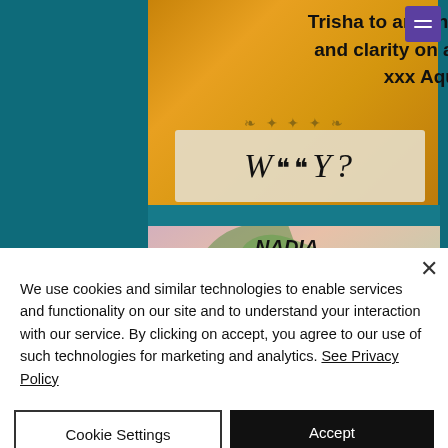[Figure (screenshot): Webpage screenshot showing a testimonial card with gold/wheat background and text 'Trisha to anyone who wants h... and clarity on a situation. Th... xxx Aquarian' with a WHY? decorative banner, a teal separator bar, and a second card with 'NADIA' and 'Hi Trish thank you for the reading' text. A purple hamburger menu button appears top right. A cookie consent dialog overlays the bottom half of the page.]
Trisha to anyone who wants h... and clarity on a situation. Th... xxx Aquarian
WHY?
NADIA
Hi Trish thank you for the reading
We use cookies and similar technologies to enable services and functionality on our site and to understand your interaction with our service. By clicking on accept, you agree to our use of such technologies for marketing and analytics. See Privacy Policy
Cookie Settings
Accept